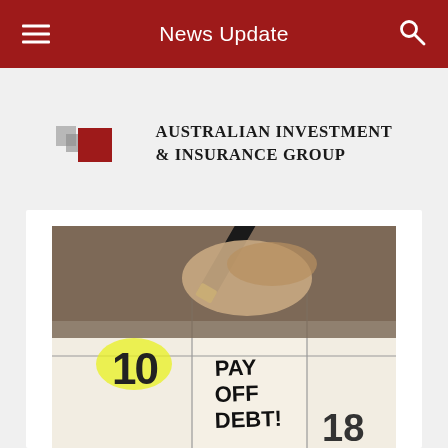News Update
[Figure (logo): Australian Investment & Insurance Group logo with two overlapping squares (grey and red) and text]
[Figure (photo): Close-up photo of a hand holding a marker highlighting the number 10 on a calendar page, with 'PAY OFF DEBT!' written in marker, and the number 18 visible in the bottom right corner]